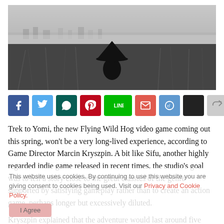[Figure (photo): Black and white photo of a silhouetted figure wearing a conical hat sitting in tall grass overlooking a misty landscape with buildings in the background.]
[Figure (infographic): Row of social share buttons: Facebook (blue), Twitter (light blue), WhatsApp (dark teal), Pinterest (red), LINE (green), Email (red-orange), Reddit (blue), black button, gray share button.]
Trek to Yomi, the new Flying Wild Hog video game coming out this spring, won't be a very long-lived experience, according to Game Director Marcin Kryszpin. A bit like Sifu, another highly regarded indie game released in recent times, the studio's goal was to tell a story close to the great classics of the genre supported by satisfying gameplay rather than to create an action game, perhaps longer but excessively diluted.
Kryszpin explained that the adventure would last around five